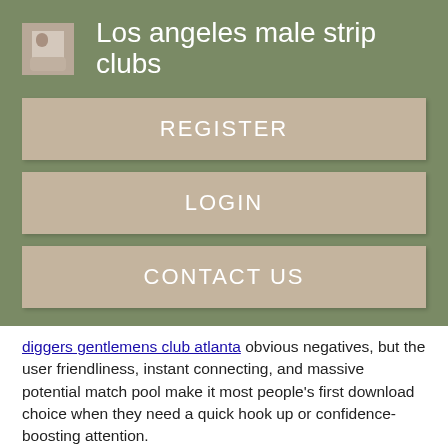Los angeles male strip clubs
REGISTER
LOGIN
CONTACT US
diggers gentlemens club atlanta obvious negatives, but the user friendliness, instant connecting, and massive potential match pool make it most people's first download choice when they need a quick hook up or confidence-boosting attention.
Though it's technically in the 'dating app' category, I'm not so sure that everyone's intentions on the app are to find a serious relationship — but it's definitely possible. Whether you love it or think list free dating sites trash, it's going to be one of list free dating sites best for the foreseeable future, and those are just